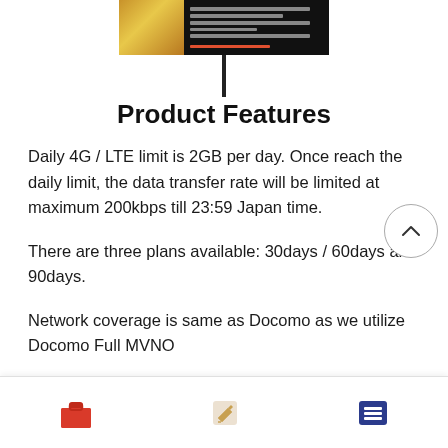[Figure (screenshot): A dark banner image with a golden textured left section and Japanese text on the right side against a black background, with small red producer credit text at the bottom.]
Product Features
Daily 4G / LTE limit is 2GB per day. Once reach the daily limit, the data transfer rate will be limited at maximum 200kbps till 23:59 Japan time.
There are three plans available: 30days / 60days and 90days.
Network coverage is same as Docomo as we utilize Docomo Full MVNO
[Figure (infographic): Bottom navigation bar with three icons: red briefcase/shop icon on left, tan/beige edit/pencil icon in center, dark blue list/menu icon on right.]